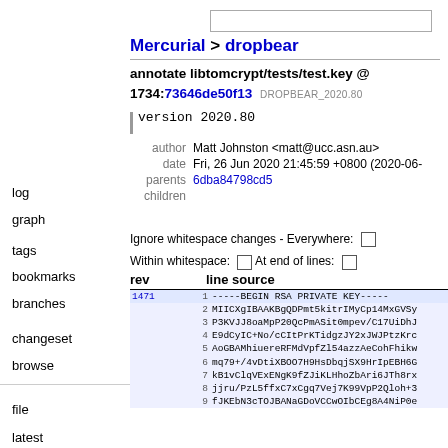Mercurial > dropbear
annotate libtomcrypt/tests/test.key @ 1734:73646de50f13 DROPBEAR_2020.80
version 2020.80
|  |  |
| --- | --- |
| author | Matt Johnston <matt@ucc.asn.au> |
| date | Fri, 26 Jun 2020 21:45:59 +0800 (2020-06- |
| parents | 6dba84798cd5 |
| children |  |
Ignore whitespace changes - Everywhere: ☐
Within whitespace: ☐ At end of lines: ☐
| rev | line | source |
| --- | --- | --- |
| 1471 | 1 | -----BEGIN RSA PRIVATE KEY----- |
|  | 2 | MIICXgIBAAKBgQDPmt5kitrIMyCp14MxGVSy |
|  | 3 | P3KVJJ8oaMpP20QcPmASit0mpev/C17UiDhJ |
|  | 4 | E9dCyIC+No/cCItPrKTidgzJY2xJWJPtzKrc |
|  | 5 | AoGBAMhiuereRFMdVpfZl54azzAeCohFhikw |
|  | 6 | mq79+/4vDtiXBOO7H9HsDbqjSX9HrIpEBH6G |
|  | 7 | kB1vClqVExENgK9fZJiKLHhoZbAri6JTh8rx |
|  | 8 | jjru/PzL5ffxC7xCgq7Vej7K99VpP2Qloh+3 |
|  | 9 | fJKEbN3cTOJBANaGDoVCCwOIbCEg8A4NiP0e |
log
graph
tags
bookmarks
branches
changeset
browse
file
latest
diff
comparison
annotate
file log
raw